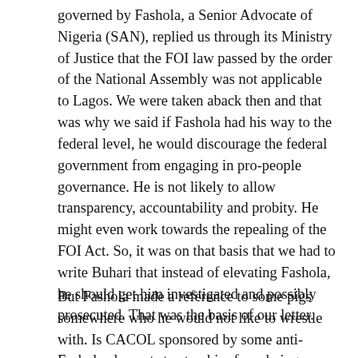governed by Fashola, a Senior Advocate of Nigeria (SAN), replied us through its Ministry of Justice that the FOI law passed by the order of the National Assembly was not applicable to Lagos. We were taken aback then and that was why we said if Fashola had his way to the federal level, he would discourage the federal government from engaging in pro-people governance. He is not likely to allow transparency, accountability and probity. He might even work towards the repealing of the FOI Act. So, it was on that basis that we had to write Buhari that instead of elevating Fashola, he should get him investigated and possibly prosecuted. That was the basis of our letter.
But Fashola made a reference to some pigs somewhere who he would not like to wrestle with. Is CACOL sponsored by some anti-Fashola elements to stop him from being appointed into office?